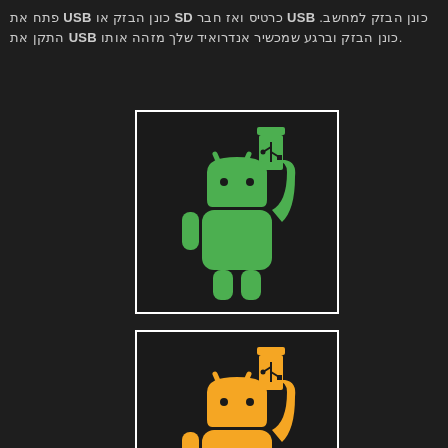פתח את USB כונן הבזק או SD כרטיס ואז חבר USB כונן הבזק למחשב. התקן את USB כונן הבזק וברגע שמכשיר אנדרואיד שלך מזהה אותו.
[Figure (illustration): Green Android robot holding a USB flash drive, displayed on dark background inside a white-bordered box]
[Figure (illustration): Orange Android robot holding a USB flash drive, displayed on dark background inside a white-bordered box]